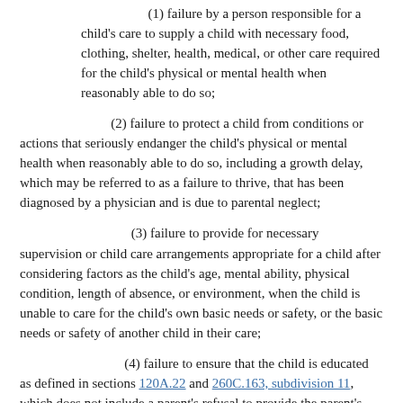(1) failure by a person responsible for a child's care to supply a child with necessary food, clothing, shelter, health, medical, or other care required for the child's physical or mental health when reasonably able to do so;
(2) failure to protect a child from conditions or actions that seriously endanger the child's physical or mental health when reasonably able to do so, including a growth delay, which may be referred to as a failure to thrive, that has been diagnosed by a physician and is due to parental neglect;
(3) failure to provide for necessary supervision or child care arrangements appropriate for a child after considering factors as the child's age, mental ability, physical condition, length of absence, or environment, when the child is unable to care for the child's own basic needs or safety, or the basic needs or safety of another child in their care;
(4) failure to ensure that the child is educated as defined in sections 120A.22 and 260C.163, subdivision 11, which does not include a parent's refusal to provide the parent's child with sympathomimetic medications, consistent with section 125A.091, subdivision 5;